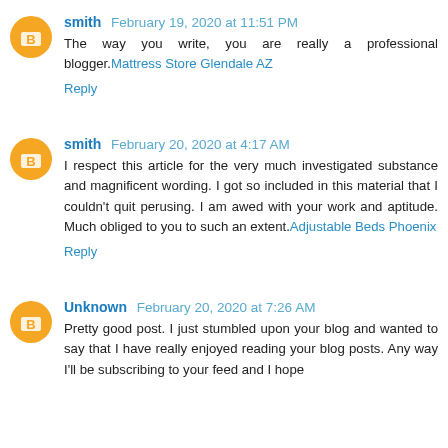smith February 19, 2020 at 11:51 PM
The way you write, you are really a professional blogger. Mattress Store Glendale AZ
Reply
smith February 20, 2020 at 4:17 AM
I respect this article for the very much investigated substance and magnificent wording. I got so included in this material that I couldn't quit perusing. I am awed with your work and aptitude. Much obliged to you to such an extent. Adjustable Beds Phoenix
Reply
Unknown February 20, 2020 at 7:26 AM
Pretty good post. I just stumbled upon your blog and wanted to say that I have really enjoyed reading your blog posts. Any way I'll be subscribing to your feed and I hope